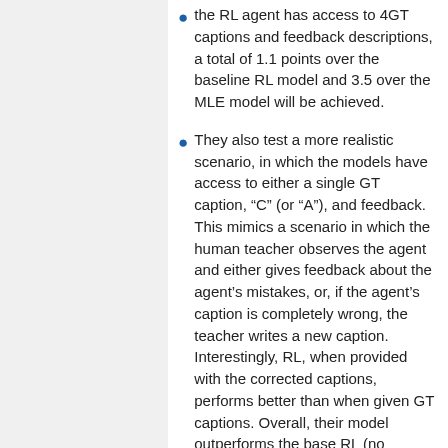the RL agent has access to 4GT captions and feedback descriptions, a total of 1.1 points over the baseline RL model and 3.5 over the MLE model will be achieved.
They also test a more realistic scenario, in which the models have access to either a single GT caption, “C” (or “A”), and feedback. This mimics a scenario in which the human teacher observes the agent and either gives feedback about the agent’s mistakes, or, if the agent’s caption is completely wrong, the teacher writes a new caption. Interestingly, RL, when provided with the corrected captions, performs better than when given GT captions. Overall, their model outperforms the base RL (no feedback) by 1.2 points